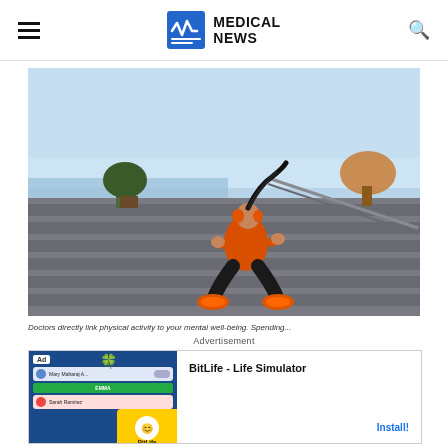MEDICAL NEWS
[Figure (photo): Woman in orange top and black leggings doing squat exercise on outdoor steps near waterfront, wearing orange headphones, hair flying up]
Doctors directly link physical activity to your mental well-being. Spending...
Advertisement
[Figure (screenshot): BitLife - Life Simulator mobile app advertisement banner with Install button]